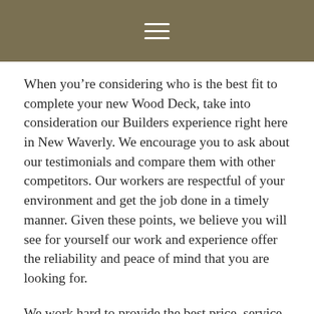≡
When you're considering who is the best fit to complete your new Wood Deck, take into consideration our Builders experience right here in New Waverly. We encourage you to ask about our testimonials and compare them with other competitors. Our workers are respectful of your environment and get the job done in a timely manner. Given these points, we believe you will see for yourself our work and experience offer the reliability and peace of mind that you are looking for.
We work hard to provide the best price, service, and value for your home project. From the first phone call to clean-up we feel that you will find that you have hired the New Waverly area's best Wood